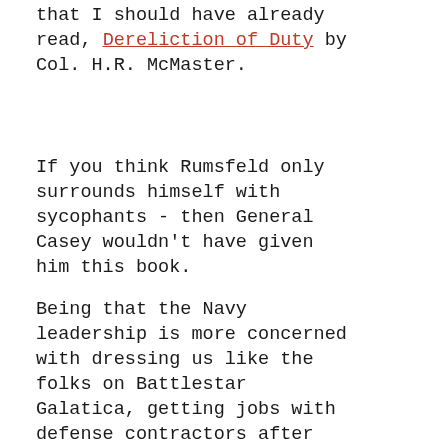that I should have already read, Dereliction of Duty by Col. H.R. McMaster.
If you think Rumsfeld only surrounds himself with sycophants - then General Casey wouldn't have given him this book.
Being that the Navy leadership is more concerned with dressing us like the folks on Battlestar Galatica, getting jobs with defense contractors after they retire, and chasing down LT's that have a potty mouth that wouldn't even have been noticed on any of the ships they commanded as LCDR, CDR, and CAPT - I am going to have to spend more time watching, and reading,